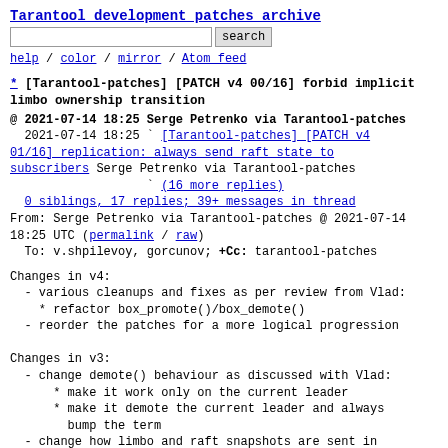Tarantool development patches archive
search  help / color / mirror / Atom feed
* [Tarantool-patches] [PATCH v4 00/16] forbid implicit limbo ownership transition
@ 2021-07-14 18:25 Serge Petrenko via Tarantool-patches
  2021-07-14 18:25 ` [Tarantool-patches] [PATCH v4 01/16] replication: always send raft state to subscribers Serge Petrenko via Tarantool-patches
                   ` (16 more replies)
  0 siblings, 17 replies; 39+ messages in thread
From: Serge Petrenko via Tarantool-patches @ 2021-07-14 18:25 UTC (permalink / raw)
  To: v.shpilevoy, gorcunov; +Cc: tarantool-patches
Changes in v4:
  - various cleanups and fixes as per review from Vlad:
    * refactor box_promote()/box_demote()
  - reorder the patches for a more logical progression

Changes in v3:
  - change demote() behaviour as discussed with Vlad:
      * make it work only on the current leader
      * make it demote the current leader and always
        bump the term
  - change how limbo and raft snapshots are sent in
response
    to JOIN: